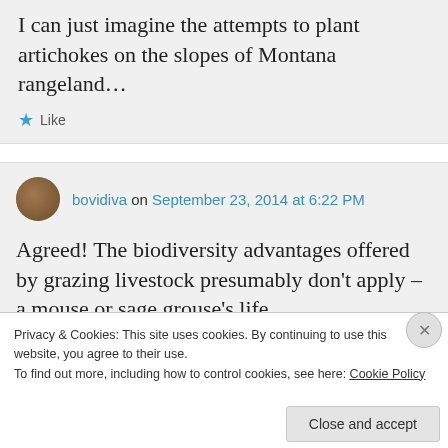I can just imagine the attempts to plant artichokes on the slopes of Montana rangeland...
★ Like
bovidiva on September 23, 2014 at 6:22 PM
Agreed! The biodiversity advantages offered by grazing livestock presumably don't apply – a mouse or sage grouse's life
Privacy & Cookies: This site uses cookies. By continuing to use this website, you agree to their use.
To find out more, including how to control cookies, see here: Cookie Policy
Close and accept